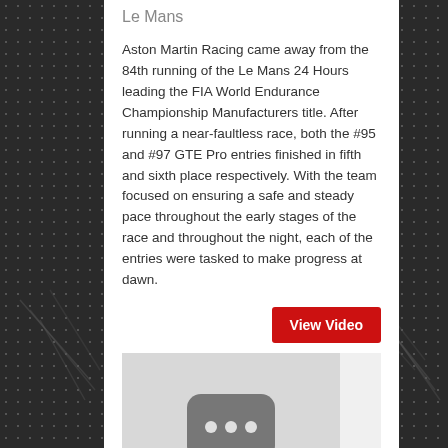Le Mans
Aston Martin Racing came away from the 84th running of the Le Mans 24 Hours leading the FIA World Endurance Championship Manufacturers title. After running a near-faultless race, both the #95 and #97 GTE Pro entries finished in fifth and sixth place respectively. With the team focused on ensuring a safe and steady pace throughout the early stages of the race and throughout the night, each of the entries were tasked to make progress at dawn.
[Figure (screenshot): Red 'View Video' button]
[Figure (screenshot): Video thumbnail placeholder with dark rounded rectangle and three white dots, indicating a loading or unavailable video]